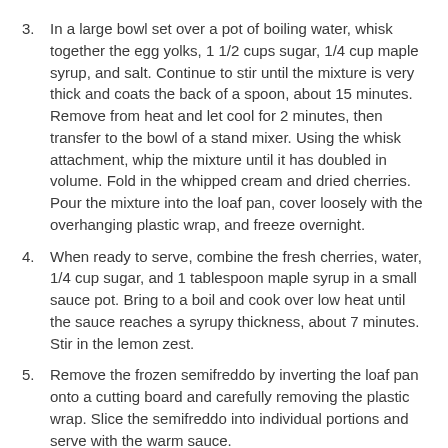3. In a large bowl set over a pot of boiling water, whisk together the egg yolks, 1 1/2 cups sugar, 1/4 cup maple syrup, and salt. Continue to stir until the mixture is very thick and coats the back of a spoon, about 15 minutes. Remove from heat and let cool for 2 minutes, then transfer to the bowl of a stand mixer. Using the whisk attachment, whip the mixture until it has doubled in volume. Fold in the whipped cream and dried cherries. Pour the mixture into the loaf pan, cover loosely with the overhanging plastic wrap, and freeze overnight.
4. When ready to serve, combine the fresh cherries, water, 1/4 cup sugar, and 1 tablespoon maple syrup in a small sauce pot. Bring to a boil and cook over low heat until the sauce reaches a syrupy thickness, about 7 minutes. Stir in the lemon zest.
5. Remove the frozen semifreddo by inverting the loaf pan onto a cutting board and carefully removing the plastic wrap. Slice the semifreddo into individual portions and serve with the warm sauce.